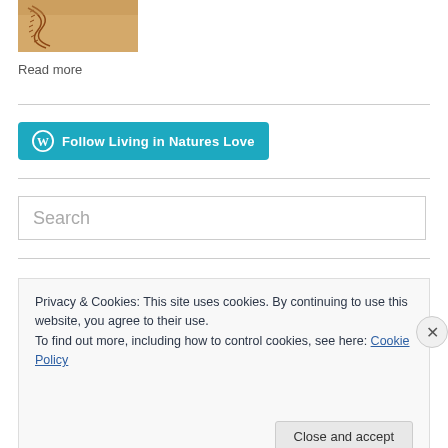[Figure (photo): Close-up of a baseball showing stitching, brown/tan tones]
Read more
[Figure (other): WordPress Follow button: 'Follow Living in Natures Love' teal/blue button with WordPress logo]
[Figure (other): Search input box with placeholder text 'Search']
Privacy & Cookies: This site uses cookies. By continuing to use this website, you agree to their use.
To find out more, including how to control cookies, see here: Cookie Policy
Close and accept